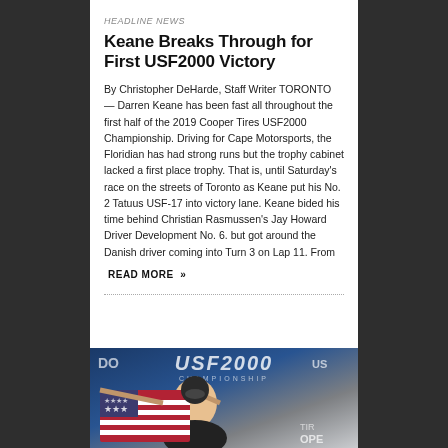HEADLINE NEWS
Keane Breaks Through for First USF2000 Victory
By Christopher DeHarde, Staff Writer TORONTO — Darren Keane has been fast all throughout the first half of the 2019 Cooper Tires USF2000 Championship. Driving for Cape Motorsports, the Floridian has had strong runs but the trophy cabinet lacked a first place trophy. That is, until Saturday's race on the streets of Toronto as Keane put his No. 2 Tatuus USF-17 into victory lane. Keane bided his time behind Christian Rasmussen's Jay Howard Driver Development No. 6. but got around the Danish driver coming into Turn 3 on Lap 11. From
READ MORE »
[Figure (photo): Photo of a racing driver holding an American flag aloft in celebration, with USF2000 Championship branding visible in the background]